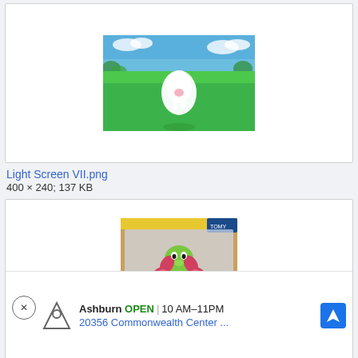[Figure (screenshot): Pokemon game screenshot showing a white Pokemon on a green field with blue sky background]
Light Screen VII.png
400 × 240; 137 KB
[Figure (photo): Pokemon M-073 Meganium figure toy in packaging, green dinosaur-like Pokemon]
Report Ad
M-073
402 ×
Ashburn  OPEN | 10 AM–11PM
20356 Commonwealth Center ...